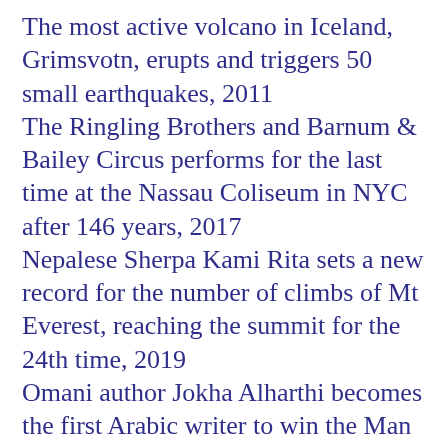The most active volcano in Iceland, Grimsvotn, erupts and triggers 50 small earthquakes, 2011
The Ringling Brothers and Barnum & Bailey Circus performs for the last time at the Nassau Coliseum in NYC after 146 years, 2017
Nepalese Sherpa Kami Rita sets a new record for the number of climbs of Mt Everest, reaching the summit for the 24th time, 2019
Omani author Jokha Alharthi becomes the first Arabic writer to win the Man Booker International Prize for her novel Celestial Bodies along with her translator Marilyn Booth, 2019
Scientists announce the oldest and most distant gravitational waves ever detected, from a collision of two black holes, with first intermediate mass black hole ever discovered